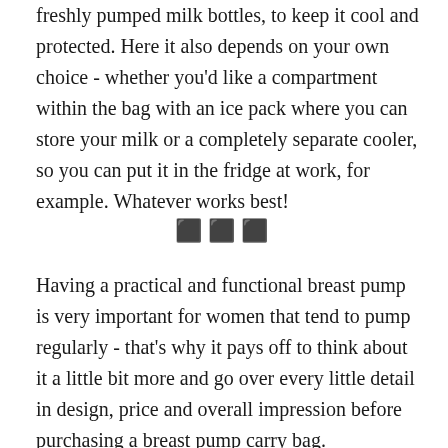freshly pumped milk bottles, to keep it cool and protected. Here it also depends on your own choice - whether you'd like a compartment within the bag with an ice pack where you can store your milk or a completely separate cooler, so you can put it in the fridge at work, for example. Whatever works best!
⬛⬛⬛
Having a practical and functional breast pump is very important for women that tend to pump regularly - that's why it pays off to think about it a little bit more and go over every little detail in design, price and overall impression before purchasing a breast pump carry bag.